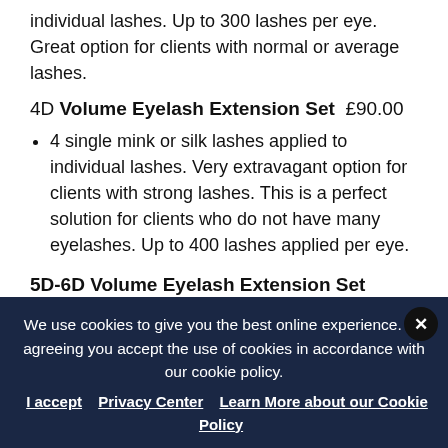individual lashes. Up to 300 lashes per eye. Great option for clients with normal or average lashes.
4D Volume Eyelash Extension Set £90.00
4 single mink or silk lashes applied to individual lashes. Very extravagant option for clients with strong lashes. This is a perfect solution for clients who do not have many eyelashes. Up to 400 lashes applied per eye.
5D-6D Volume Eyelash Extension Set £99.00
Maximum volume extensions with up to 600 lashes per eye. These lashes are
We use cookies to give you the best online experience. By agreeing you accept the use of cookies in accordance with our cookie policy.
I accept  Privacy Center  Learn More about our Cookie Policy